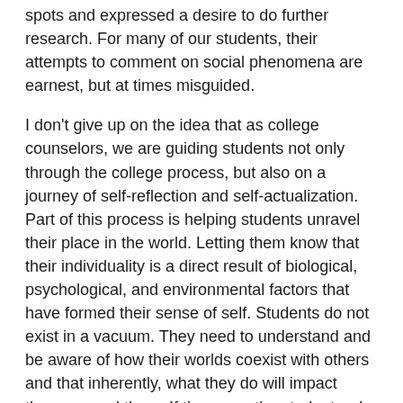spots and expressed a desire to do further research. For many of our students, their attempts to comment on social phenomena are earnest, but at times misguided.
I don't give up on the idea that as college counselors, we are guiding students not only through the college process, but also on a journey of self-reflection and self-actualization. Part of this process is helping students unravel their place in the world. Letting them know that their individuality is a direct result of biological, psychological, and environmental factors that have formed their sense of self. Students do not exist in a vacuum. They need to understand and be aware of how their worlds coexist with others and that inherently, what they do will impact those around them. If these are the students who will likely become the most influential actors in our society, then part of their preparation is embedding them with a sense of empathy and social responsibility. For some, the result of the college process may be the end result. But if as counselors we can plant seeds of critical consciousness within our students, then my hope is that when it matters most, these seeds begin to sprout.